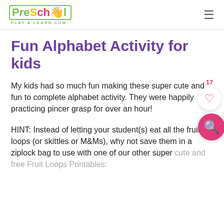PreSchool Play & Learn .com
Fun Alphabet Activity for kids
My kids had so much fun making these super cute and fun to complete alphabet activity. They were happily practicing pincer grasp for over an hour!
HINT: Instead of letting your student(s) eat all the fruit loops (or skittles or M&Ms), why not save them in a ziplock bag to use with one of our other super cute and free Fruit Loops Printables: